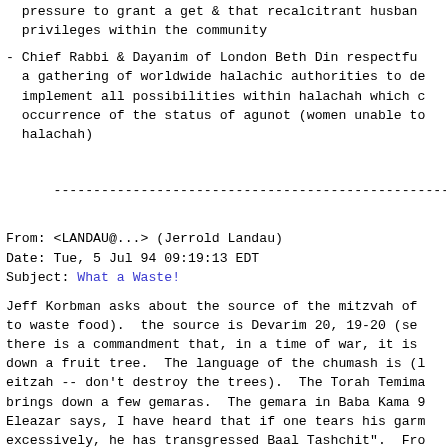pressure to grant a get & that recalcitrant husbands be denied privileges within the community
- Chief Rabbi & Dayanim of London Beth Din respectfully call for a gathering of worldwide halachic authorities to devise and implement all possibilities within halachah which could prevent occurrence of the status of agunot (women unable to remarry in halachah)
------------------------------------------------------------------------
From: <LANDAU@...> (Jerrold Landau)
Date: Tue, 5 Jul 94 09:19:13 EDT
Subject: What a Waste!
Jeff Korbman asks about the source of the mitzvah of Baal Tashchit (not to waste food).  the source is Devarim 20, 19-20 (see chumash).  There there is a commandment that, in a time of war, it is forbidden to cut down a fruit tree.  The language of the chumash is (Lo tashchit et eitzah -- don't destroy the trees).  The Torah Temima on that passage brings down a few gemaras.  The gemara in Baba Kama 91b states that Eleazar says, I have heard that if one tears his garment or breaks things excessively, he has transgressed Baal Tashchit".  From this gemara, it is clear that the concept of Baal Tashchit extends beyond trees to any and beyond fruit trees.  If you check section 57 (on Devarim 20:19) in Torah Temima, the Torah Temima expounds as to how the prohibition applies to any item that is of use to man.  This is derived from the words in the passuk "for a man is as if he is the fruit of the field", which is a strange language, but implies that man is